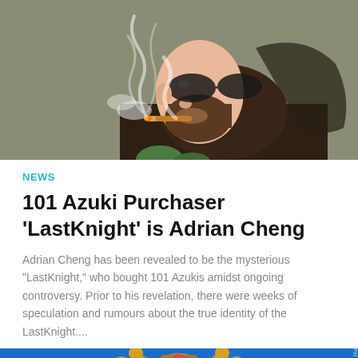[Figure (illustration): Cartoon illustration of a bearded man wearing sunglasses and a dark hoodie, smoking a cigar with smoke swirling around him, on a khaki/olive background.]
NEWS
101 Azuki Purchaser ‘LastKnight’ is Adrian Cheng
Adrian Cheng has been revealed to be the mysterious "LastKnight," who bought 101 Azukis amidst ongoing controversy. Prior to his revelation, there were weeks of speculation and rumours about the true identity of the LastKnight....
[Figure (illustration): Colorful illustration of a multi-armed deity figure on a bright blue background, holding coins and objects, with golden jewelry. Cointelegraph watermark visible.]